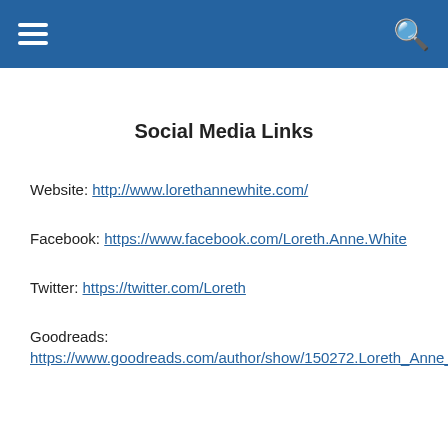Social Media Links
Website: http://www.lorethannewhite.com/
Facebook: https://www.facebook.com/Loreth.Anne.White
Twitter: https://twitter.com/Loreth
Goodreads: https://www.goodreads.com/author/show/150272.Loreth_Anne_White